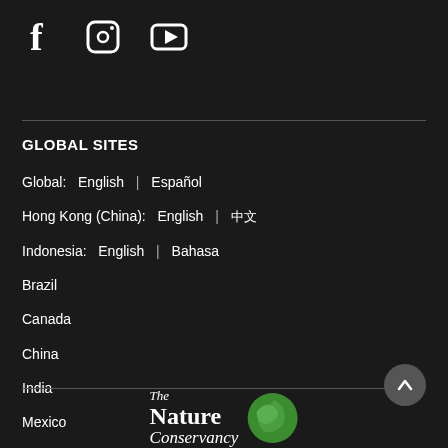[Figure (other): Social media icons: Facebook (f), Instagram (camera), YouTube (play button)]
GLOBAL SITES
Global:  English | Español
Hong Kong (China):  English | [Chinese characters]
Indonesia:  English | Bahasa
Brazil
Canada
China
India
Mexico
[Figure (logo): The Nature Conservancy logo with green globe icon]